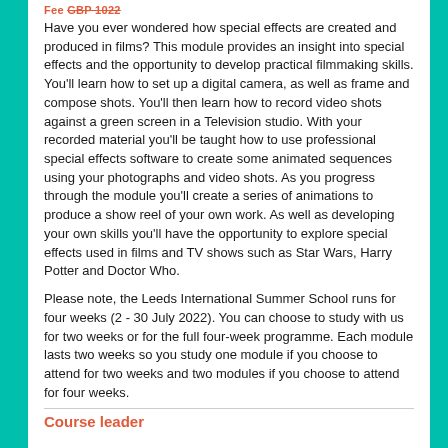Fee GBP 1022
Have you ever wondered how special effects are created and produced in films? This module provides an insight into special effects and the opportunity to develop practical filmmaking skills. You'll learn how to set up a digital camera, as well as frame and compose shots. You'll then learn how to record video shots against a green screen in a Television studio. With your recorded material you'll be taught how to use professional special effects software to create some animated sequences using your photographs and video shots. As you progress through the module you'll create a series of animations to produce a show reel of your own work. As well as developing your own skills you'll have the opportunity to explore special effects used in films and TV shows such as Star Wars, Harry Potter and Doctor Who.
Please note, the Leeds International Summer School runs for four weeks (2 - 30 July 2022). You can choose to study with us for two weeks or for the full four-week programme. Each module lasts two weeks so you study one module if you choose to attend for two weeks and two modules if you choose to attend for four weeks.
Course leader